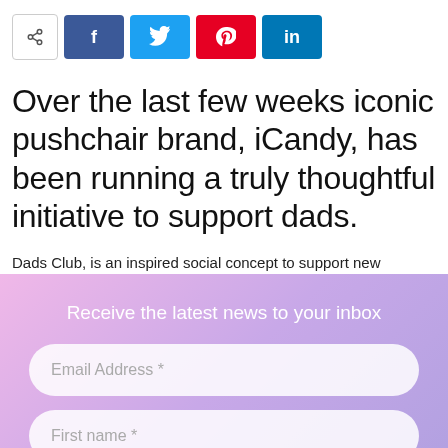[Figure (infographic): Social media share bar with share icon button, Facebook (f), Twitter (bird), Pinterest (p), and LinkedIn (in) buttons]
Over the last few weeks iconic pushchair brand, iCandy, has been running a truly thoughtful initiative to support dads.
Dads Club, is an inspired social concept to support new
Receive the latest news to your inbox
Email Address *
First name *